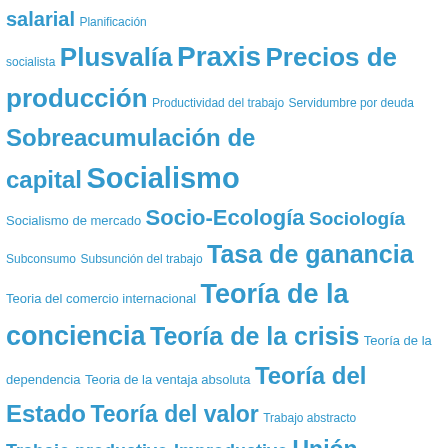[Figure (infographic): Tag cloud in Spanish featuring political economy and Marxist theory terms in varying font sizes rendered in blue. Terms include: salarial, Planificación socialista, Plusvalía, Praxis, Precios de producción, Productividad del trabajo, Servidumbre por deuda, Sobreacumulación de capital, Socialismo, Socialismo de mercado, Socio-Ecología, Sociología, Subconsumo, Subsunción del trabajo, Tasa de ganancia, Teoria del comercio internacional, Teoría de la conciencia, Teoría de la crisis, Teoría de la dependencia, Teoria de la ventaja absoluta, Teoría del Estado, Teoría del valor, Trabajo abstracto, Trabajo productivo-Improductivo, Unión Europea, Valor de uso, Vigotsky, Voloshinov, Ética]